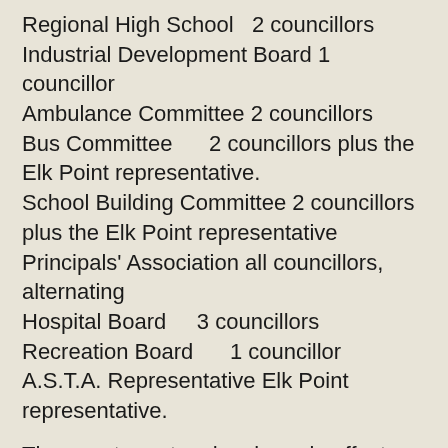Regional High School  2 councillors
Industrial Development Board 1 councillor
Ambulance Committee 2 councillors
Bus Committee    2 councillors plus the Elk Point representative.
School Building Committee 2 councillors plus the Elk Point representative
Principals' Association all councillors, alternating
Hospital Board    3 councillors
Recreation Board    1 councillor
A.S.T.A. Representative Elk Point representative.
The county system has been in effect since January, 1962. There is no suggestion at this time that a return to the former divided functions of school and municipality is being contemplated in even a casual way.
Tax notices for NW 9-57-6-W4 follow. They illustrate the change in taxes from 1913 to 1976. The levy in